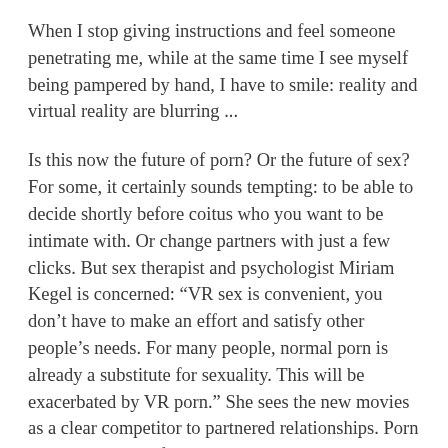When I stop giving instructions and feel someone penetrating me, while at the same time I see myself being pampered by hand, I have to smile: reality and virtual reality are blurring ...
Is this now the future of porn? Or the future of sex? For some, it certainly sounds tempting: to be able to decide shortly before coitus who you want to be intimate with. Or change partners with just a few clicks. But sex therapist and psychologist Miriam Kegel is concerned: “VR sex is convenient, you don’t have to make an effort and satisfy other people’s needs. For many people, normal porn is already a substitute for sexuality. This will be exacerbated by VR porn.” She sees the new movies as a clear competitor to partnered relationships. Porn addiction is one of the most common concerns men in particular come to her practice with anyway. With VR, she says, it could become even harder for real